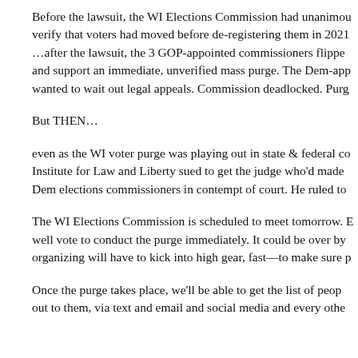Before the lawsuit, the WI Elections Commission had unanimously agreed to verify that voters had moved before de-registering them in 2021…after the lawsuit, the 3 GOP-appointed commissioners flipped and support an immediate, unverified mass purge. The Dem-appointed commissioners wanted to wait out legal appeals. Commission deadlocked. Purg…
But THEN…
even as the WI voter purge was playing out in state & federal co… Institute for Law and Liberty sued to get the judge who'd made the… Dem elections commissioners in contempt of court. He ruled to…
The WI Elections Commission is scheduled to meet tomorrow. …well vote to conduct the purge immediately. It could be over by… organizing will have to kick into high gear, fast—to make sure p…
Once the purge takes place, we'll be able to get the list of people… out to them, via text and email and social media and every othe…